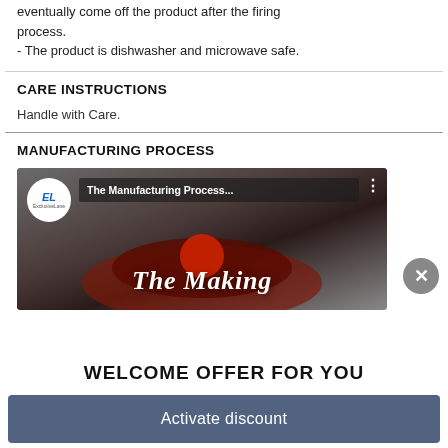eventually come off the product after the firing process.
- The product is dishwasher and microwave safe.
CARE INSTRUCTIONS
Handle with Care.
MANUFACTURING PROCESS
[Figure (screenshot): Video thumbnail showing 'The Manufacturing Process...' with ExclusiveLane channel logo bubble and 'The Making' overlay text on a dark background of cookware. A close (X) button appears in the bottom right of the overlay.]
WELCOME OFFER FOR YOU
Activate discount